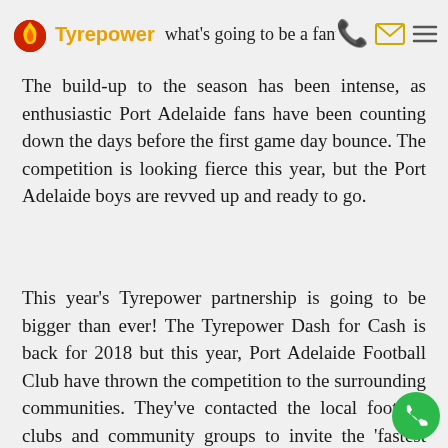Tyrepower — what's going to be a fantastic season
The build-up to the season has been intense, as enthusiastic Port Adelaide fans have been counting down the days before the first game day bounce. The competition is looking fierce this year, but the Port Adelaide boys are revved up and ready to go.
This year's Tyrepower partnership is going to be bigger than ever! The Tyrepower Dash for Cash is back for 2018 but this year, Port Adelaide Football Club have thrown the competition to the surrounding communities. They've contacted the local football clubs and community groups to invite the 'fastest runner in their ranks' to participate and show off their club colours in front of the packed stadium...